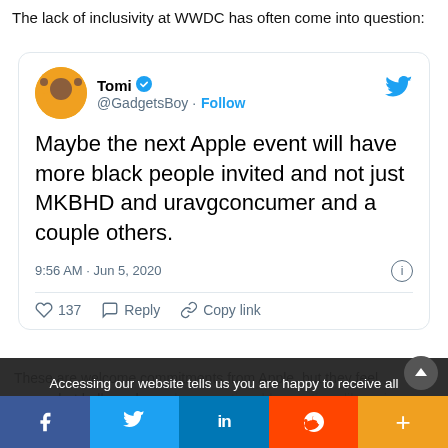The lack of inclusivity at WWDC has often come into question:
[Figure (screenshot): Embedded tweet from @GadgetsBoy (Tomi, verified) dated 9:56 AM · Jun 5, 2020. Tweet text: 'Maybe the next Apple event will have more black people invited and not just MKBHD and uravgconcumer and a couple others.' 137 likes, Reply, Copy link actions shown.]
Accessing our website tells us you are happy to receive all our cookies. If you need more information find out more on our privacy policy page.
Privacy Preferences
These are welcome commitments from Apple, but they feel somewhat hollow when... has questionable practices like using Foxcong to manufacture devices. H...